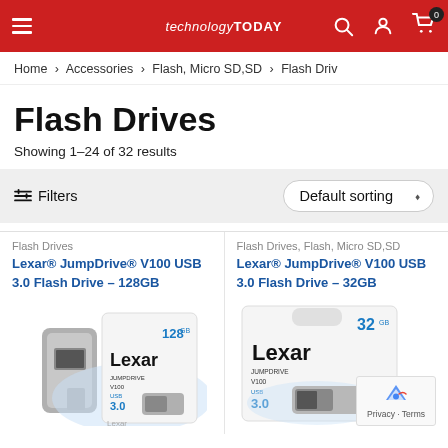technology TODAY
Home > Accessories > Flash, Micro SD,SD > Flash Driv
Flash Drives
Showing 1–24 of 32 results
Filters  Default sorting
Flash Drives
Lexar® JumpDrive® V100 USB 3.0 Flash Drive – 128GB
Flash Drives, Flash, Micro SD,SD
Lexar® JumpDrive® V100 USB 3.0 Flash Drive – 32GB
[Figure (photo): Lexar JumpDrive V100 USB 3.0 Flash Drive 128GB product packaging]
[Figure (photo): Lexar JumpDrive V100 USB 3.0 Flash Drive 32GB product packaging]